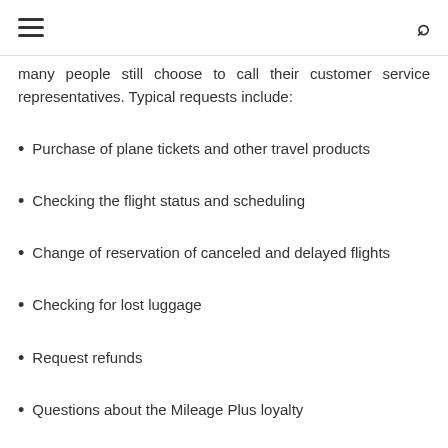many people still choose to call their customer service representatives. Typical requests include:
Purchase of plane tickets and other travel products
Checking the flight status and scheduling
Change of reservation of canceled and delayed flights
Checking for lost luggage
Request refunds
Questions about the Mileage Plus loyalty